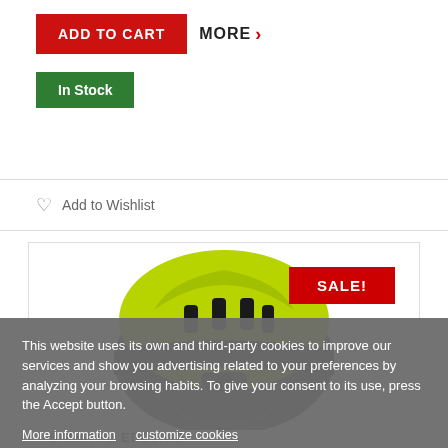ADD TO CART
MORE >
In Stock
Add to Wishlist
[Figure (photo): A climbing helmet with yellow-green and black color scheme, shown from above/side angle. SALE! badge visible in top right corner.]
SALE!
SALATHE EDELRID
This website uses its own and third-party cookies to improve our services and show you advertising related to your preferences by analyzing your browsing habits. To give your consent to its use, press the Accept button.
More information   customize cookies
I ACCEPT